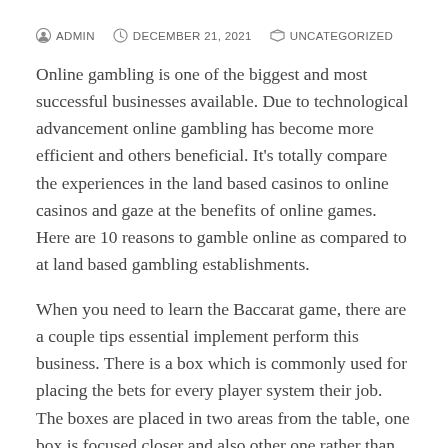ADMIN   DECEMBER 21, 2021   UNCATEGORIZED
Online gambling is one of the biggest and most successful businesses available. Due to technological advancement online gambling has become more efficient and others beneficial. It's totally compare the experiences in the land based casinos to online casinos and gaze at the benefits of online games. Here are 10 reasons to gamble online as compared to at land based gambling establishments.
When you need to learn the Baccarat game, there are a couple tips essential implement perform this business. There is a box which is commonly used for placing the bets for every player system their job. The boxes are placed in two areas from the table, one box is focused closer and also other one rather than the cart. The box which is closer for everyone who wins the bets and the